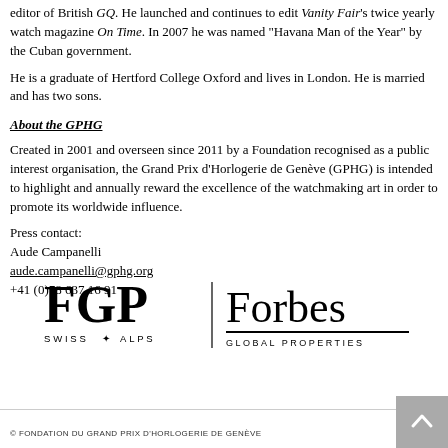editor of British GQ. He launched and continues to edit Vanity Fair's twice yearly watch magazine On Time. In 2007 he was named "Havana Man of the Year" by the Cuban government.
He is a graduate of Hertford College Oxford and lives in London. He is married and has two sons.
About the GPHG
Created in 2001 and overseen since 2011 by a Foundation recognised as a public interest organisation, the Grand Prix d'Horlogerie de Genève (GPHG) is intended to highlight and annually reward the excellence of the watchmaking art in order to promote its worldwide influence.
Press contact:
Aude Campanelli
aude.campanelli@gphg.org
+41 (0)78 637 16 91
[Figure (logo): FGP Swiss Alps and Forbes Global Properties logos side by side]
© FONDATION DU GRAND PRIX D'HORLOGERIE DE GENÈVE